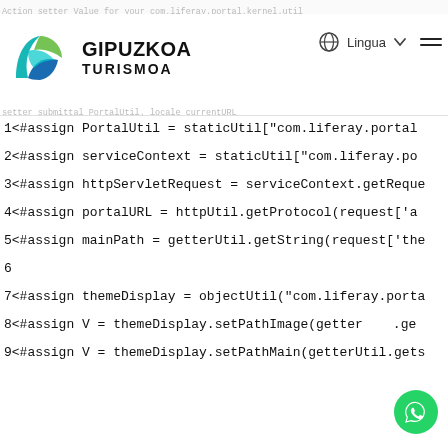[Figure (logo): Gipuzkoa Turismoa logo with teal/green/blue leaf/wave icon and bold text]
1<#assign PortalUtil = staticUtil["com.liferay.portal
2<#assign serviceContext = staticUtil["com.liferay.po
3<#assign httpServletRequest = serviceContext.getReque
4<#assign portalURL = httpUtil.getProtocol(request['a
5<#assign mainPath = getterUtil.getString(request['the
6
7<#assign themeDisplay = objectUtil("com.liferay.porta
8<#assign V = themeDisplay.setPathImage(getter .ge
9<#assign V = themeDisplay.setPathMain(getterUtil.gets